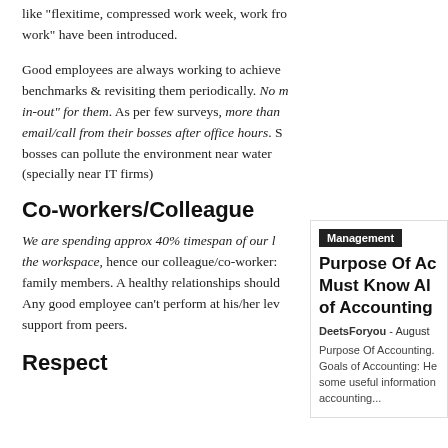like “flexitime, compressed work week, work fro work” have been introduced.
Good employees are always working to achieve benchmarks & revisiting them periodically. No m in-out” for them. As per few surveys, more than email/call from their bosses after office hours. S bosses can pollute the environment near water (specially near IT firms)
Co-workers/Colleague
We are spending approx 40% timespan of our l the workspace, hence our colleague/co-worker: family members. A healthy relationships should Any good employee can’t perform at his/her lev support from peers.
Respect
Management
Purpose Of Ac Must Know Al of Accounting
DeetsForyou - August
Purpose Of Accounting. Goals of Accounting: He some useful information accounting...